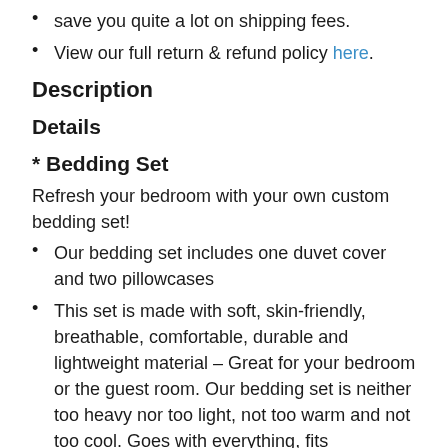save you quite a lot on shipping fees.
View our full return & refund policy here.
Description
Details
* Bedding Set
Refresh your bedroom with your own custom bedding set!
Our bedding set includes one duvet cover and two pillowcases
This set is made with soft, skin-friendly, breathable, comfortable, durable and lightweight material – Great for your bedroom or the guest room. Our bedding set is neither too heavy nor too light, not too warm and not too cool. Goes with everything, fits everywhere
The duvet cover set uses eco-friendly dye in the